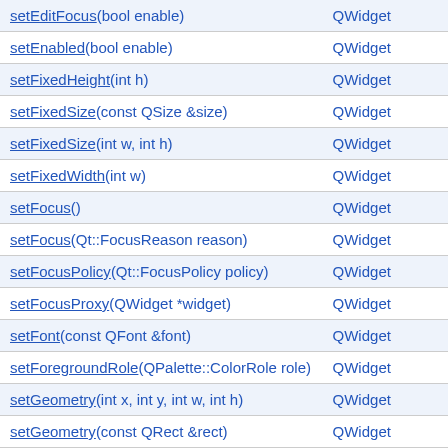| Method | Class |
| --- | --- |
| setEditFocus(bool enable) | QWidget |
| setEnabled(bool enable) | QWidget |
| setFixedHeight(int h) | QWidget |
| setFixedSize(const QSize &size) | QWidget |
| setFixedSize(int w, int h) | QWidget |
| setFixedWidth(int w) | QWidget |
| setFocus() | QWidget |
| setFocus(Qt::FocusReason reason) | QWidget |
| setFocusPolicy(Qt::FocusPolicy policy) | QWidget |
| setFocusProxy(QWidget *widget) | QWidget |
| setFont(const QFont &font) | QWidget |
| setForegroundRole(QPalette::ColorRole role) | QWidget |
| setGeometry(int x, int y, int w, int h) | QWidget |
| setGeometry(const QRect &rect) | QWidget |
| setGraphicsEffect(QGraphicsEffect *effect) | QWidget |
| setHidden(bool hidden) | QWidget |
| setIcon(const QIcon &icon) | QAbstractButton |